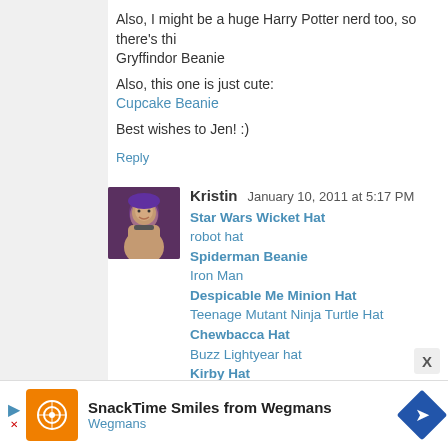Also, I might be a huge Harry Potter nerd too, so there's this Gryffindor Beanie

Also, this one is just cute:
Cupcake Beanie

Best wishes to Jen! :)
Reply
Kristin  January 10, 2011 at 5:17 PM
Star Wars Wicket Hat
robot hat
Spiderman Beanie
Iron Man
Despicable Me Minion Hat
Teenage Mutant Ninja Turtle Hat
Chewbacca Hat
Buzz Lightyear hat
Kirby Hat
R2D2 Hat...same fabulous detail and half the price
Reply